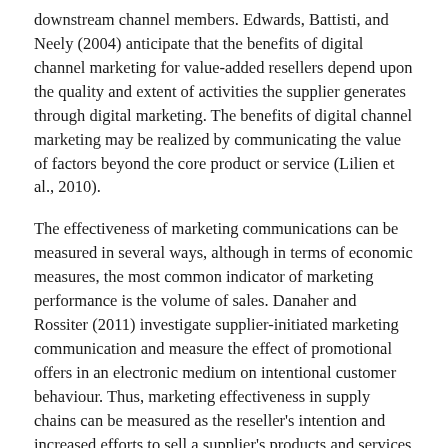downstream channel members. Edwards, Battisti, and Neely (2004) anticipate that the benefits of digital channel marketing for value-added resellers depend upon the quality and extent of activities the supplier generates through digital marketing. The benefits of digital channel marketing may be realized by communicating the value of factors beyond the core product or service (Lilien et al., 2010).
The effectiveness of marketing communications can be measured in several ways, although in terms of economic measures, the most common indicator of marketing performance is the volume of sales. Danaher and Rossiter (2011) investigate supplier-initiated marketing communication and measure the effect of promotional offers in an electronic medium on intentional customer behaviour. Thus, marketing effectiveness in supply chains can be measured as the reseller's intention and increased efforts to sell a supplier's products and services (Johnson et al., 2001). Kalyanam and Brar (2009) found that, because resellers in the dynamic information technology industry are typically selling many technologies, they lack the time to focus and learn specific technologies or product information. Following Jerman and Zavrsnik (2012), we see that it is important for marketers to understand the contribution of different marketing